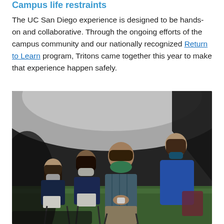Campus life restraints
The UC San Diego experience is designed to be hands-on and collaborative. Through the ongoing efforts of the campus community and our nationally recognized Return to Learn program, Tritons came together this year to make that experience happen safely.
[Figure (photo): Students and an instructor sitting in chairs inside a large white tent, all wearing face masks, with green turf visible on the ground. A person in a blue sweater stands at the right.]